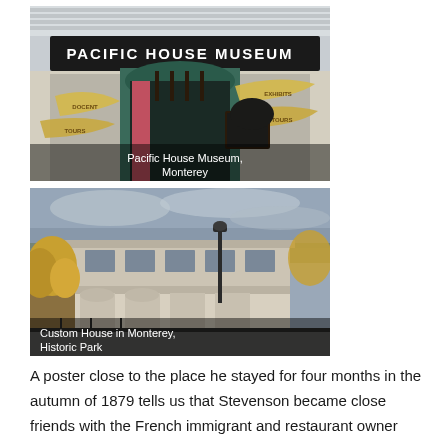[Figure (photo): Photograph of the Pacific House Museum entrance in Monterey, showing the museum facade with a large black sign reading 'PACIFIC HOUSE MUSEUM', green doorway, and decorative banners/ribbons advertising tours and exhibits. Caption overlay reads 'Pacific House Museum, Monterey'.]
[Figure (photo): Photograph of the Custom House in Monterey Historic Park, showing a two-story adobe building with autumn-colored trees and a street lamp under an overcast sky. Caption overlay reads 'Custom House in Monterey, Historic Park'.]
A poster close to the place he stayed for four months in the autumn of 1879 tells us that Stevenson became close friends with the French immigrant and restaurant owner